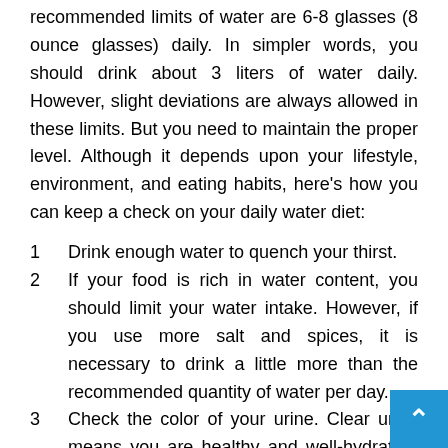recommended limits of water are 6-8 glasses (8 ounce glasses) daily. In simpler words, you should drink about 3 liters of water daily. However, slight deviations are always allowed in these limits. But you need to maintain the proper level. Although it depends upon your lifestyle, environment, and eating habits, here's how you can keep a check on your daily water diet:
1. Drink enough water to quench your thirst.
2. If your food is rich in water content, you should limit your water intake. However, if you use more salt and spices, it is necessary to drink a little more than the recommended quantity of water per day.
3. Check the color of your urine. Clear urine means you are healthy and well-hydrated. But yellowish color indicates the need of more water for your body. Here, you should remember that sometimes this color may also result from the additives...